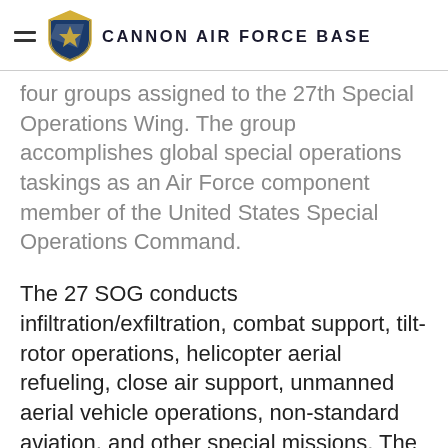CANNON AIR FORCE BASE
four groups assigned to the 27th Special Operations Wing. The group accomplishes global special operations taskings as an Air Force component member of the United States Special Operations Command.
The 27 SOG conducts infiltration/exfiltration, combat support, tilt-rotor operations, helicopter aerial refueling, close air support, unmanned aerial vehicle operations, non-standard aviation, and other special missions. The group directs the deployment, employment, training, and planning for Cannon's operational and operational support squadrons.